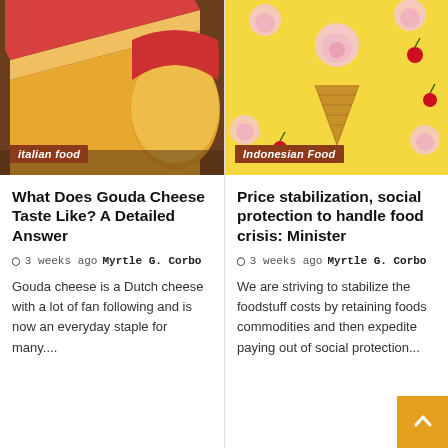[Figure (photo): Photo of Gouda cheese wedges with red wax coating on a wooden surface]
italian food
What Does Gouda Cheese Taste Like? A Detailed Answer
3 weeks ago  Myrtle G. Corbo
Gouda cheese is a Dutch cheese with a lot of fan following and is now an everyday staple for many....
[Figure (photo): Flat lay of ice cream cone with pink roses and cherries on yellow background]
Indonesian Food
Price stabilization, social protection to handle food crisis: Minister
3 weeks ago  Myrtle G. Corbo
We are striving to stabilize the foodstuff costs by retaining foods commodities and then expedite paying out of social protection...